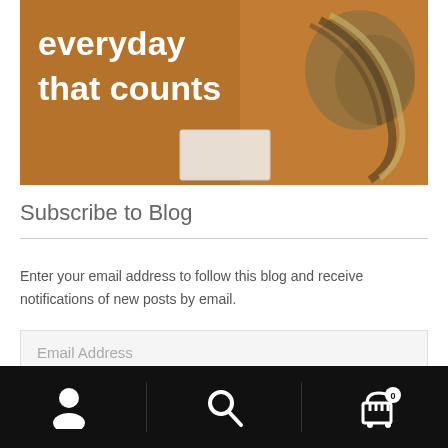[Figure (photo): Hero banner image with brown/tan background showing rope/textile craft items, with bold white text reading 'everyday that counts']
Subscribe to Blog
Enter your email address to follow this blog and receive notifications of new posts by email.
Email Address
Follow
Bottom navigation bar with user icon, search icon, and cart icon with badge 0